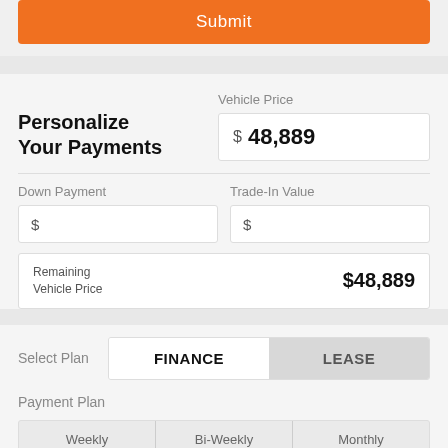Submit
Personalize Your Payments
Vehicle Price
$ 48,889
Down Payment
Trade-In Value
Remaining Vehicle Price
$48,889
Select Plan
FINANCE
LEASE
Payment Plan
Weekly
Bi-Weekly
Monthly